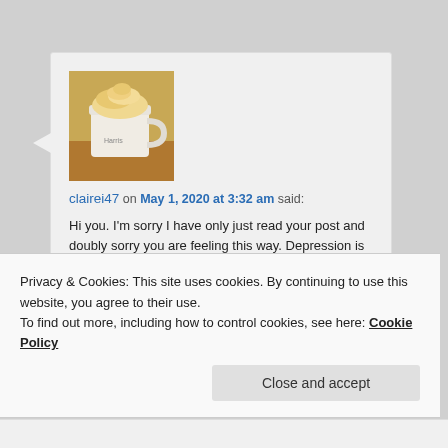[Figure (photo): Avatar photo of a coffee cup with whipped cream topping in a white mug on a wooden surface]
clairei47 on May 1, 2020 at 3:32 am said:
Hi you. I'm sorry I have only just read your post and doubly sorry you are feeling this way. Depression is a killer and I absolutely hate it. It is totally the opposite of 'joy' in every sense of the word. Others have made excellent suggestions
Privacy & Cookies: This site uses cookies. By continuing to use this website, you agree to their use.
To find out more, including how to control cookies, see here: Cookie Policy